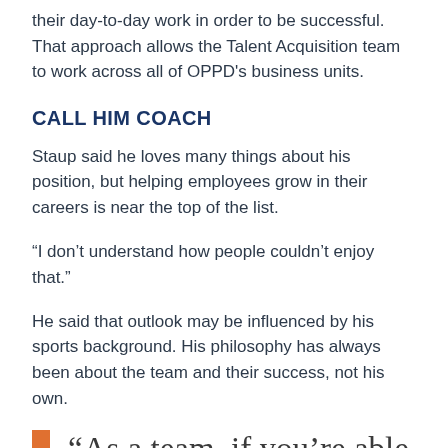their day-to-day work in order to be successful. That approach allows the Talent Acquisition team to work across all of OPPD's business units.
CALL HIM COACH
Staup said he loves many things about his position, but helping employees grow in their careers is near the top of the list.
“I don’t understand how people couldn’t enjoy that.”
He said that outlook may be influenced by his sports background. His philosophy has always been about the team and their success, not his own.
“As a team, if you’re able to